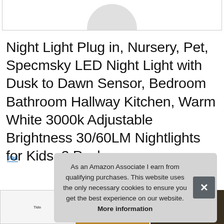[Figure (photo): Partial product image at top, showing bottom of a white rounded product shape against white background, inside a bordered box]
Night Light Plug in, Nursery, Pet, Specmsky LED Night Light with Dusk to Dawn Sensor, Bedroom Bathroom Hallway Kitchen, Warm White 3000k Adjustable Brightness 30/60LM Nightlights for Kids, 2 Pack
#ad
[Figure (screenshot): Cookie consent overlay popup on grey background with close button. Text: As an Amazon Associate I earn from qualifying purchases. This website uses the only necessary cookies to ensure you get the best experience on our website. More information]
[Figure (photo): Row of product thumbnail images at the bottom of the page showing warm-lit scenes]